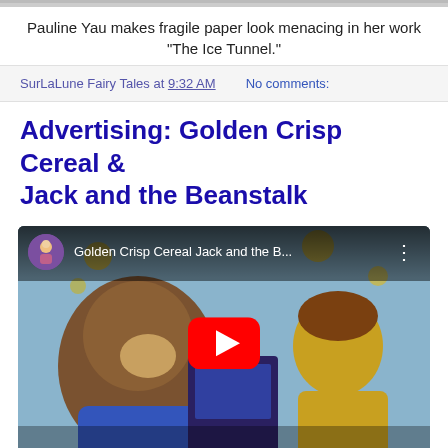Pauline Yau makes fragile paper look menacing in her work "The Ice Tunnel."
SurLaLune Fairy Tales at 9:32 AM   No comments:
Advertising: Golden Crisp Cereal & Jack and the Beanstalk
[Figure (screenshot): YouTube video thumbnail showing animated characters from Golden Crisp Cereal Jack and the Beanstalk commercial, with YouTube play button overlay and video title bar at top.]